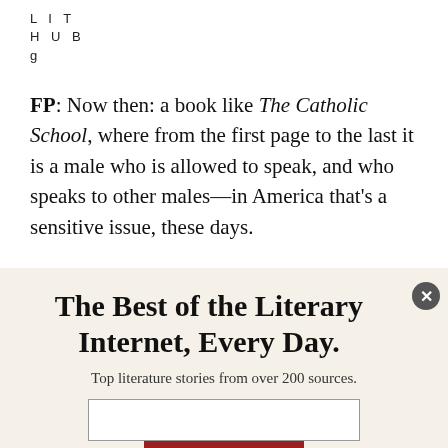LIT HUB
FP: Now then: a book like The Catholic School, where from the first page to the last it is a male who is allowed to speak, and who speaks to other males—in America that's a sensitive issue, these days.
The Best of the Literary Internet, Every Day.
Top literature stories from over 200 sources.